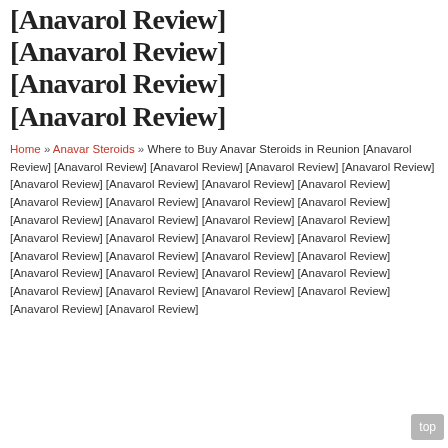[Anavarol Review] [Anavarol Review] [Anavarol Review] [Anavarol Review] [Anavarol Review]
Home » Anavar Steroids » Where to Buy Anavar Steroids in Reunion [Anavarol Review] [Anavarol Review] [Anavarol Review] [Anavarol Review] [Anavarol Review] [Anavarol Review] [Anavarol Review] [Anavarol Review] [Anavarol Review] [Anavarol Review] [Anavarol Review] [Anavarol Review] [Anavarol Review] [Anavarol Review] [Anavarol Review] [Anavarol Review] [Anavarol Review] [Anavarol Review] [Anavarol Review] [Anavarol Review] [Anavarol Review] [Anavarol Review] [Anavarol Review] [Anavarol Review] [Anavarol Review] [Anavarol Review] [Anavarol Review] [Anavarol Review] [Anavarol Review] [Anavarol Review] [Anavarol Review] [Anavarol Review] [Anavarol Review]